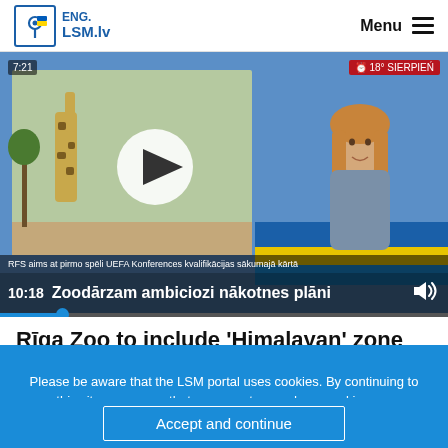ENG. LSM.lv  Menu
[Figure (screenshot): Video player showing a giraffe on screen and a female news presenter on the right side. Video title: Zoodārzam ambiciozi nākotnes plāni. Time display: 10:18. Progress bar shown at bottom.]
Rīga Zoo to include 'Himalayan' zone
Please be aware that the LSM portal uses cookies. By continuing to use this site, you agree that we may store and use cookies on your device. Find out more
Accept and continue